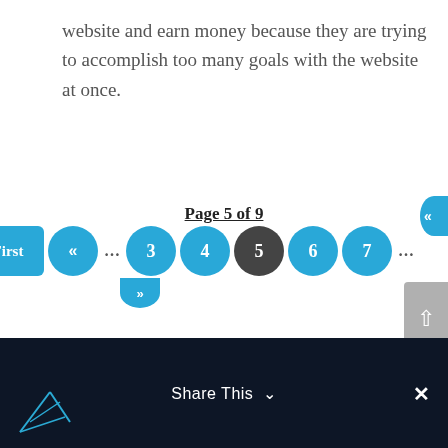website and earn money because they are trying to accomplish too many goals with the website at once.
Page 5 of 9  «  First  «  ...  3  4  5  6  7  ...
[Figure (screenshot): Pagination navigation bar showing: First button, « button, ellipsis, page 3, page 4, page 5 (active/dark), page 6, page 7, ellipsis. Label above reads 'Page 5 of 9' with underline.]
[Figure (screenshot): Dark navy footer bar with 'Share This' text and chevron down arrow in center, close X button on right, and a geometric logo sketch on the left.]